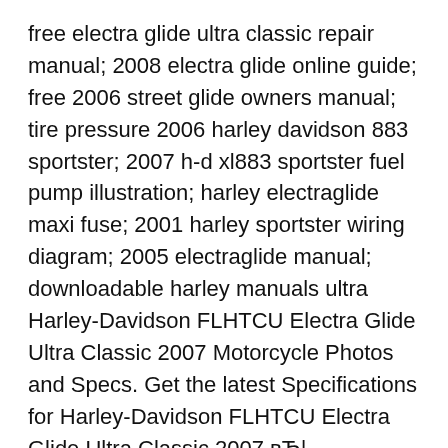free electra glide ultra classic repair manual; 2008 electra glide online guide; free 2006 street glide owners manual; tire pressure 2006 harley davidson 883 sportster; 2007 h-d xl883 sportster fuel pump illustration; harley electraglide maxi fuse; 2001 harley sportster wiring diagram; 2005 electraglide manual; downloadable harley manuals ultra Harley-Davidson FLHTCU Electra Glide Ultra Classic 2007 Motorcycle Photos and Specs. Get the latest Specifications for Harley-Davidson FLHTCU Electra Glide Ultra Classic 2007 вЂ¦
Make Offer - Harley Davidson ELECTRICAL DIAGNOSTIC Manual 2007